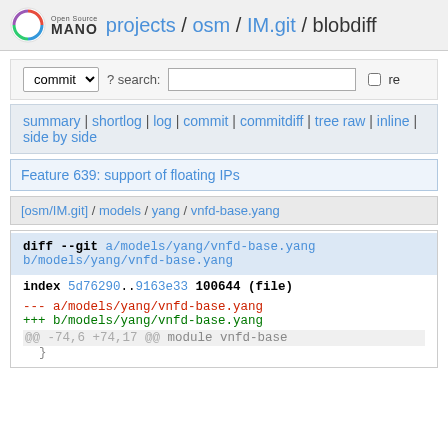Open Source MANO projects / osm / IM.git / blobdiff
commit ? search: re
summary | shortlog | log | commit | commitdiff | tree raw | inline | side by side
Feature 639: support of floating IPs
[osm/IM.git] / models / yang / vnfd-base.yang
diff --git a/models/yang/vnfd-base.yang b/models/yang/vnfd-base.yang
index 5d76290..9163e33 100644 (file)
--- a/models/yang/vnfd-base.yang
+++ b/models/yang/vnfd-base.yang
@@ -74,6 +74,17 @@ module vnfd-base
     }